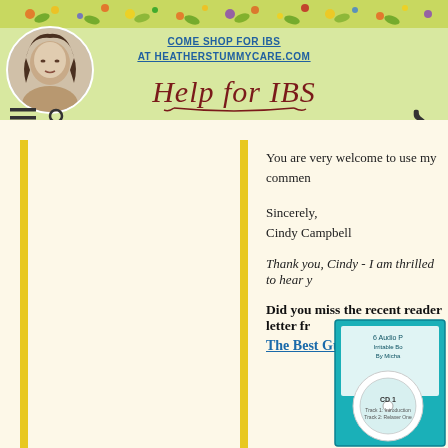COME SHOP FOR IBS AT HEATHERSTUMMYCARE.COM — Help for IBS
You are very welcome to use my commen
Sincerely,
Cindy Campbell
Thank you, Cindy - I am thrilled to hear y
Did you miss the recent reader letter fr
The Best Gut-Directed
[Figure (photo): Product image - CD case for gut-directed audio program]